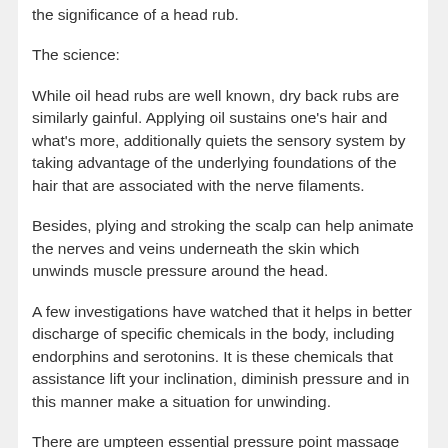the significance of a head rub.
The science:
While oil head rubs are well known, dry back rubs are similarly gainful. Applying oil sustains one's hair and what's more, additionally quiets the sensory system by taking advantage of the underlying foundations of the hair that are associated with the nerve filaments.
Besides, plying and stroking the scalp can help animate the nerves and veins underneath the skin which unwinds muscle pressure around the head.
A few investigations have watched that it helps in better discharge of specific chemicals in the body, including endorphins and serotonins. It is these chemicals that assistance lift your inclination, diminish pressure and in this manner make a situation for unwinding.
There are umpteen essential pressure point massage